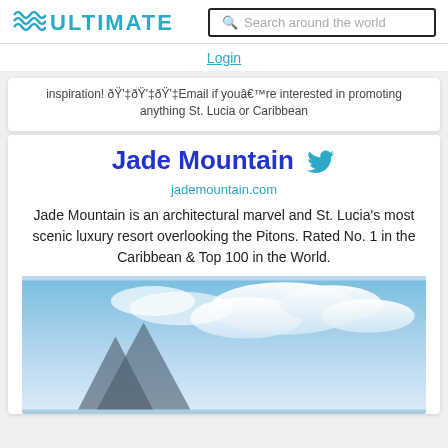ULTIMATE
Search around the world
Login
inspiration! ðŸ'‡ðŸ'‡ðŸ'‡Email if youâ€™re interested in promoting anything St. Lucia or Caribbean
Jade Mountain
jademountain.com
Jade Mountain is an architectural marvel and St. Lucia's most scenic luxury resort overlooking the Pitons. Rated No. 1 in the Caribbean & Top 100 in the World.
[Figure (photo): Photo of Jade Mountain resort with blue sky and clouds, showing the architectural structure with mountain peaks in background]